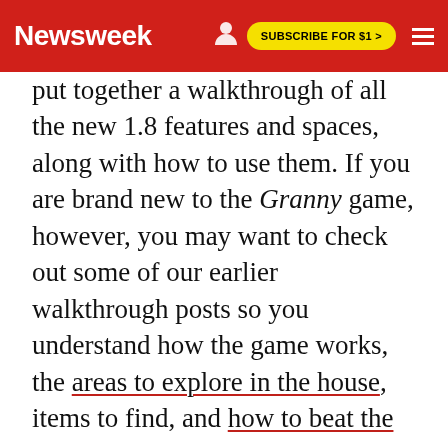Newsweek | SUBSCRIBE FOR $1 >
put together a walkthrough of all the new 1.8 features and spaces, along with how to use them. If you are brand new to the Granny game, however, you may want to check out some of our earlier walkthrough posts so you understand how the game works, the areas to explore in the house, items to find, and how to beat the game.